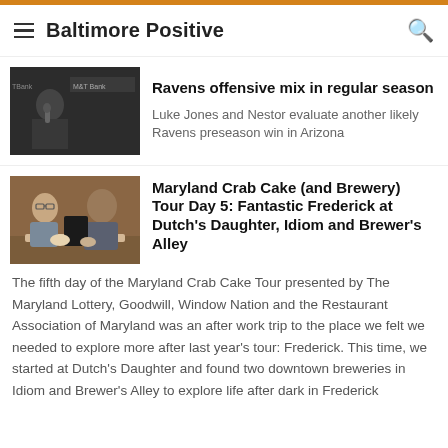Baltimore Positive
[Figure (photo): Man speaking at podium with M&T Bank banner in background, Ravens press conference]
Ravens offensive mix in regular season
Luke Jones and Nestor evaluate another likely Ravens preseason win in Arizona
[Figure (photo): Two people dining at a restaurant, smiling, with food on the table]
Maryland Crab Cake (and Brewery) Tour Day 5: Fantastic Frederick at Dutch's Daughter, Idiom and Brewer's Alley
The fifth day of the Maryland Crab Cake Tour presented by The Maryland Lottery, Goodwill, Window Nation and the Restaurant Association of Maryland was an after work trip to the place we felt we needed to explore more after last year's tour: Frederick. This time, we started at Dutch's Daughter and found two downtown breweries in Idiom and Brewer's Alley to explore life after dark in Frederick